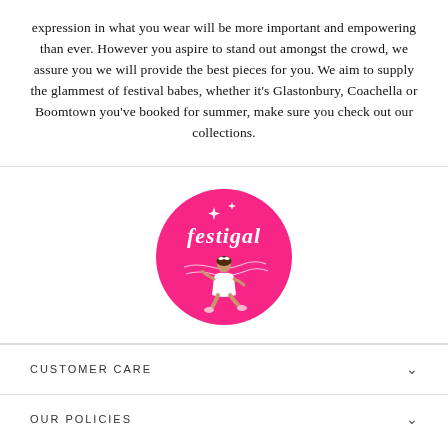expression in what you wear will be more important and empowering than ever. However you aspire to stand out amongst the crowd, we assure you we will provide the best pieces for you. We aim to supply the glammest of festival babes, whether it's Glastonbury, Coachella or Boomtown you've booked for summer, make sure you check out our collections.
[Figure (logo): Festigal brand logo: a pink circle with white script text 'festigal', sparkle stars, and an illustrated woman in a white outfit with music notes]
CUSTOMER CARE
OUR POLICIES